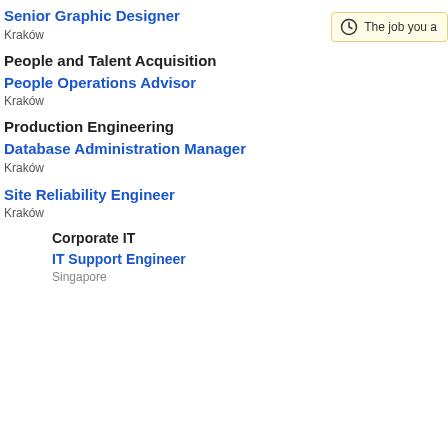Senior Graphic Designer
Kraków
People and Talent Acquisition
People Operations Advisor
Kraków
Production Engineering
Database Administration Manager
Kraków
Site Reliability Engineer
Kraków
Corporate IT
IT Support Engineer
Singapore
The job you a